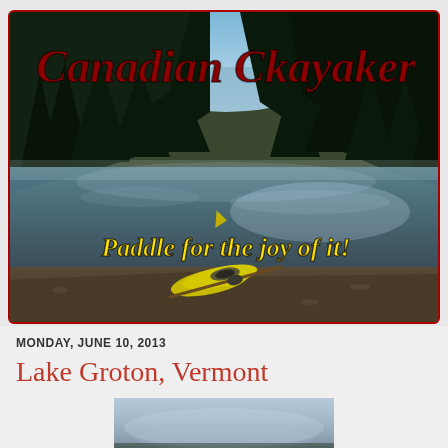[Figure (photo): Banner image of a kayak on a calm lake surrounded by forest trees, with 'Canadian Ckayaker' title in dark red italic font at top and 'Paddle for the joy of it!' subtitle in yellow italic font at bottom]
MONDAY, JUNE 10, 2013
Lake Groton, Vermont
[Figure (photo): Partial thumbnail photo at the bottom of the page showing a misty lake or outdoor scene]